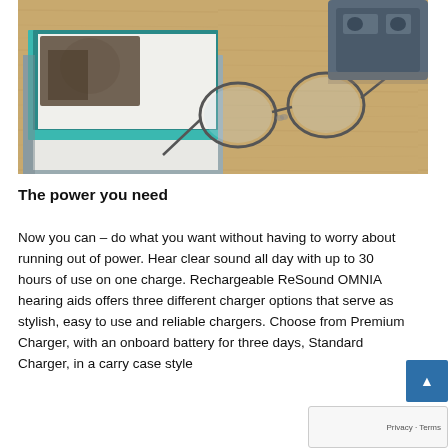[Figure (photo): Overhead photo of a wooden desk surface with folded eyeglasses, a stack of books/notebooks (one teal colored), and a hearing aid charger case in the upper right corner.]
The power you need
Now you can – do what you want without having to worry about running out of power. Hear clear sound all day with up to 30 hours of use on one charge. Rechargeable ReSound OMNIA hearing aids offers three different charger options that serve as stylish, easy to use and reliable chargers. Choose from Premium Charger, with an onboard battery for three days, Standard Charger, in a carry case style